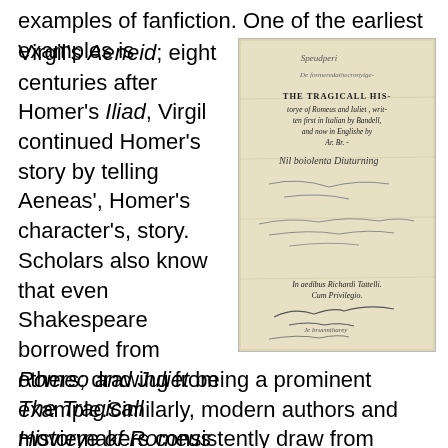examples of fanfiction. One of the earliest examples is Virgil's Aeneid; eight centuries after Homer's Iliad, Virgil continued Homer's story by telling Aeneas', Homer's character's, story. Scholars also know that even Shakespeare borrowed from others; drawing from The Tragicall Historye of Romeus and Iuliet by Arthur Brooke to create
[Figure (photo): Old title page of 'The Tragicall Historye of Romeus and Iuliet' with handwritten annotations, printed text reading 'THE TRAGICALL HIS-torye of Romeus and Iuliet, written first in Italian by Bandell, and now in Englishe by Ar. Br.' and 'In aedibus Richardi Tottelli. Cum Privilegio.']
Romeo and Juliet being a prominent example.Similarly, modern authors and moviemakers consistently draw from Romeo and Juliet and other Shakespeare plays for adaptations, retellings and inspiration.(Mobillard)